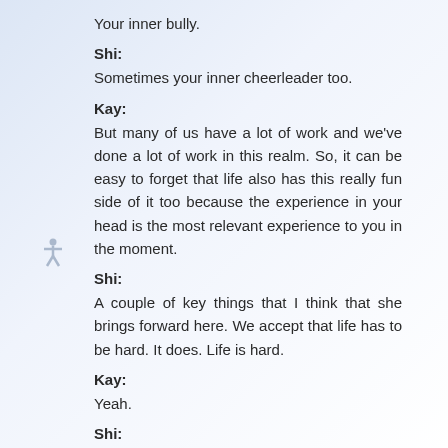Your inner bully.
Shi:
Sometimes your inner cheerleader too.
Kay:
But many of us have a lot of work and we've done a lot of work in this realm. So, it can be easy to forget that life also has this really fun side of it too because the experience in your head is the most relevant experience to you in the moment.
Shi:
A couple of key things that I think that she brings forward here. We accept that life has to be hard. It does. Life is hard.
Kay:
Yeah.
Shi:
Living is hard. Being a living biological being…